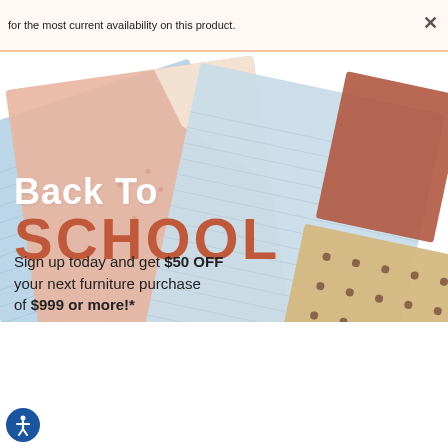for the most current availability on this product.
[Figure (photo): Decorative notebooks/journals arranged at angles — light blue, peach/salmon, a tan/kraft perforated board, and a terracotta/brown accent piece on a white background.]
Back To SCHOOL
Sign up today and get $50 OFF your next furniture purchase of $999 or more!*